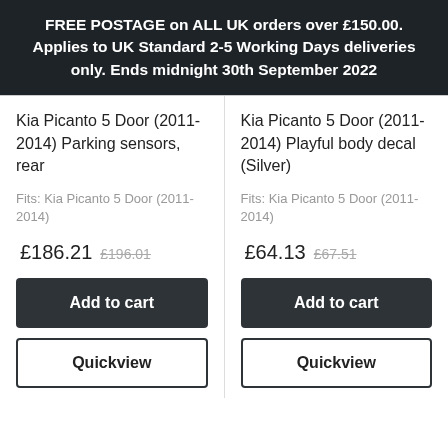FREE POSTAGE on ALL UK orders over £150.00. Applies to UK Standard 2-5 Working Days deliveries only. Ends midnight 30th September 2022
Kia Picanto 5 Door (2011-2014) Parking sensors, rear
Fits: Kia Picanto 5 Door (2011-2014)
£186.21  £196.01
Add to cart
Quickview
Kia Picanto 5 Door (2011-2014) Playful body decal (Silver)
Fits: Kia Picanto 5 Door (2011-2014)
£64.13  £67.51
Add to cart
Quickview